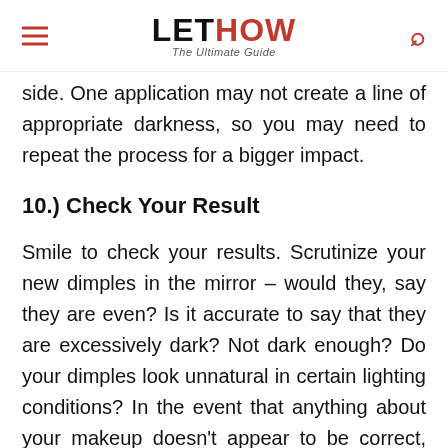LETHOW The Ultimate Guide
side. One application may not create a line of appropriate darkness, so you may need to repeat the process for a bigger impact.
10.) Check Your Result
Smile to check your results. Scrutinize your new dimples in the mirror – would they, say they are even? Is it accurate to say that they are excessively dark? Not dark enough? Do your dimples look unnatural in certain lighting conditions? In the event that anything about your makeup doesn't appear to be correct, don't be hesitant to wash it off and then start...